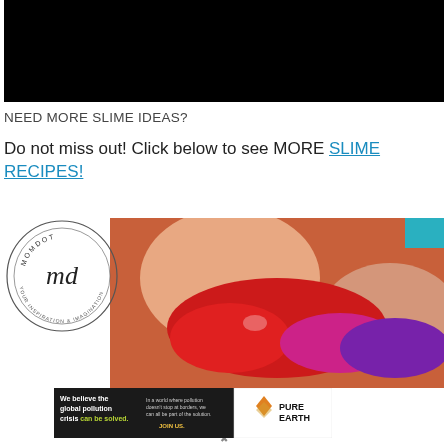[Figure (photo): Black rectangle representing a video or image placeholder at the top of the page]
NEED MORE SLIME IDEAS?
Do not miss out! Click below to see MORE SLIME RECIPES!
[Figure (photo): MomDot circular logo on the left with cursive 'md' text and tagline, overlaid on a close-up photo of hands holding colorful red, pink, and purple slime]
[Figure (photo): Pure Earth advertisement banner: left dark panel reads 'We believe the global pollution crisis can be solved.' with tagline and JOIN US. Right panel shows Pure Earth diamond logo and text PURE EARTH]